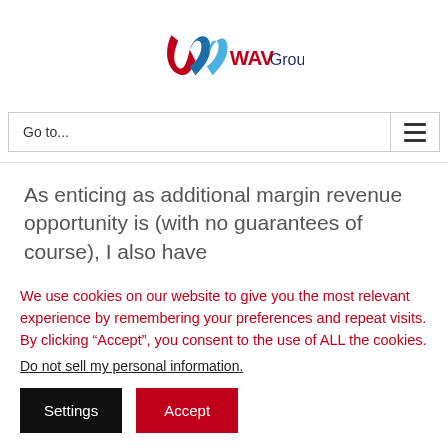[Figure (logo): WAV Group logo with stylized blue and red ribbon W mark and WAVGroup text in dark navy/red]
Go to...
As enticing as additional margin revenue opportunity is (with no guarantees of course), I also have
We use cookies on our website to give you the most relevant experience by remembering your preferences and repeat visits. By clicking “Accept”, you consent to the use of ALL the cookies.
Do not sell my personal information.
Settings
Accept